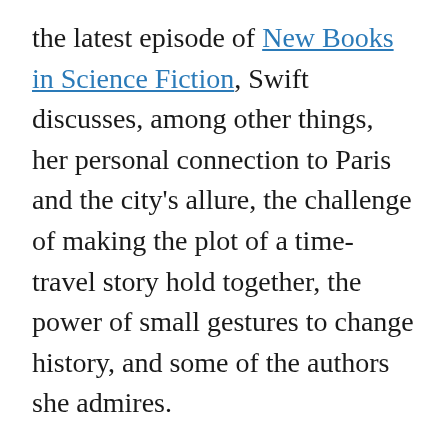the latest episode of New Books in Science Fiction, Swift discusses, among other things, her personal connection to Paris and the city's allure, the challenge of making the plot of a time-travel story hold together, the power of small gestures to change history, and some of the authors she admires.

Swift's novel is both a suspenseful chrono-adventure and a portrait of Hallie, a young British woman running from an unhappy life. When she gets a job in current-day Paris as a waitress at a bar, she makes intense friendships among the staff of hard-drinking ex-pats. She